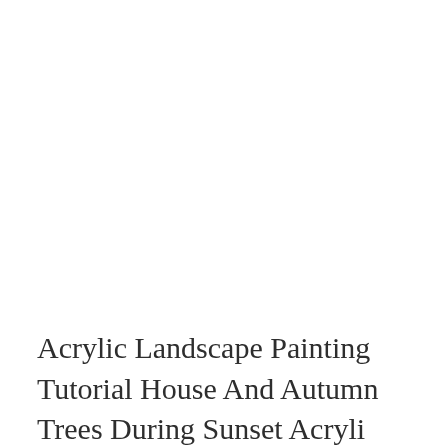Acrylic Landscape Painting Tutorial House And Autumn Trees During Sunset Acryli Landscape Painting Tutorial Sunset Painting Acrylic Canvas Painting Tutorial